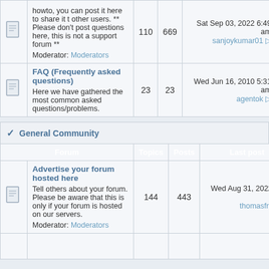|  | Forum | Topics | Posts | Last post |
| --- | --- | --- | --- | --- |
| [icon] | howto, you can post it here to share it t other users. ** Please don't post questions here, this is not a support forum ** Moderator: Moderators | 110 | 669 | Sat Sep 03, 2022 6:49 am
sanjoykumar01 |
| [icon] | FAQ (Frequently asked questions)
Here we have gathered the most common asked questions/problems. | 23 | 23 | Wed Jun 16, 2010 5:31 am
agentok |
General Community
| Forum | Topics | Posts | Last post |
| --- | --- | --- | --- |
| Advertise your forum hosted here
Tell others about your forum. Please be aware that this is only if your forum is hosted on our servers.
Moderator: Moderators | 144 | 443 | Wed Aug 31, 2022 9:26 am
thomasfrank |